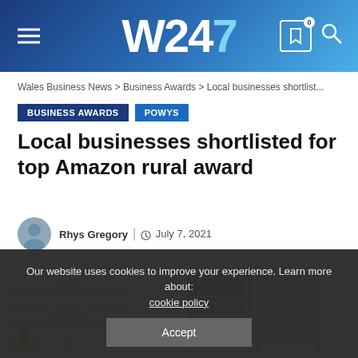W247
Wales Business News > Business Awards > Local businesses shortlist...
BUSINESS AWARDS  POWYS
Local businesses shortlisted for top Amazon rural award
Rhys Gregory | July 7, 2021
[Figure (photo): Interior of two local retail shops side by side]
Our website uses cookies to improve your experience. Learn more about: cookie policy
Accept